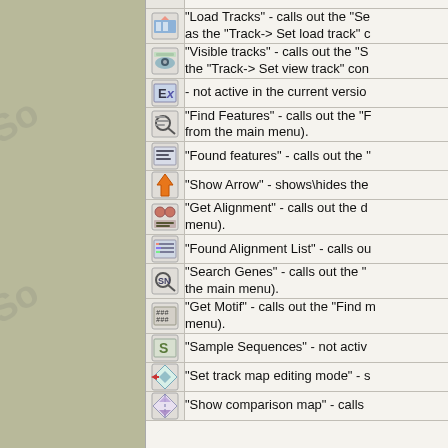| Icon | Description |
| --- | --- |
| [Load Tracks icon] | "Load Tracks" - calls out the "Se as the "Track-> Set load track" c |
| [Visible tracks icon] | "Visible tracks" - calls out the "S the "Track-> Set view track" con |
| [Ex icon] | - not active in the current versio |
| [Find Features icon] | "Find Features" - calls out the "F from the main menu). |
| [Found features icon] | "Found features" - calls out the " |
| [Show Arrow icon] | "Show Arrow" - shows\hides the |
| [Get Alignment icon] | "Get Alignment" - calls out the d menu). |
| [Found Alignment List icon] | "Found Alignment List" - calls ou |
| [Search Genes icon] | "Search Genes" - calls out the " the main menu). |
| [Get Motif icon] | "Get Motif" - calls out the "Find m menu). |
| [Sample Sequences icon] | "Sample Sequences" - not activ |
| [Set track map editing mode icon] | "Set track map editing mode" - s |
| [Show comparison map icon] | "Show comparison map" - calls |